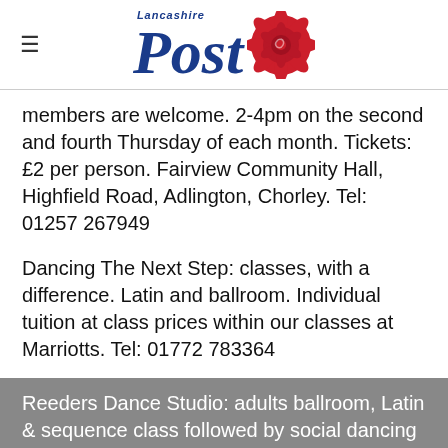Lancashire Post
members are welcome. 2-4pm on the second and fourth Thursday of each month. Tickets: £2 per person. Fairview Community Hall, Highfield Road, Adlington, Chorley. Tel: 01257 267949
Dancing The Next Step: classes, with a difference. Latin and ballroom. Individual tuition at class prices within our classes at Marriotts. Tel: 01772 783364
Reeders Dance Studio: adults ballroom, Latin & sequence class followed by social dancing